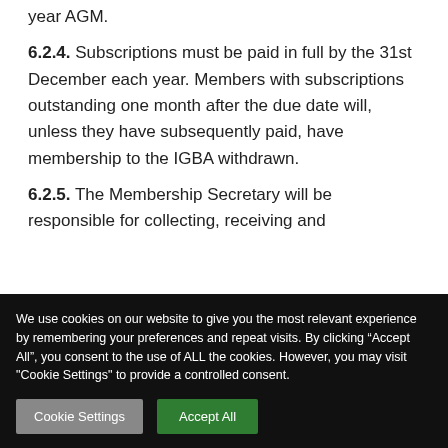year AGM.
6.2.4. Subscriptions must be paid in full by the 31st December each year. Members with subscriptions outstanding one month after the due date will, unless they have subsequently paid, have membership to the IGBA withdrawn.
6.2.5. The Membership Secretary will be responsible for collecting, receiving and
We use cookies on our website to give you the most relevant experience by remembering your preferences and repeat visits. By clicking “Accept All”, you consent to the use of ALL the cookies. However, you may visit "Cookie Settings" to provide a controlled consent.